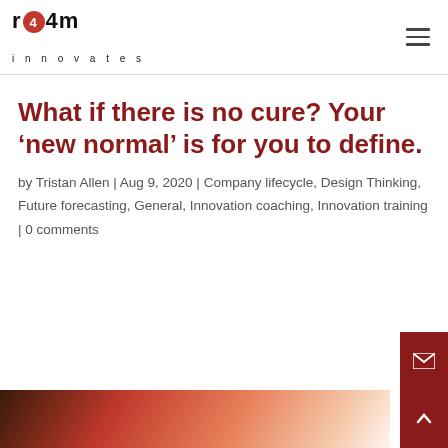r4m innovates
What if there is no cure? Your ‘new normal’ is for you to define.
by Tristan Allen | Aug 9, 2020 | Company lifecycle, Design Thinking, Future forecasting, General, Innovation coaching, Innovation training | 0 comments
[Figure (photo): Partial view of a photo at the bottom of the page showing warm reddish tones]